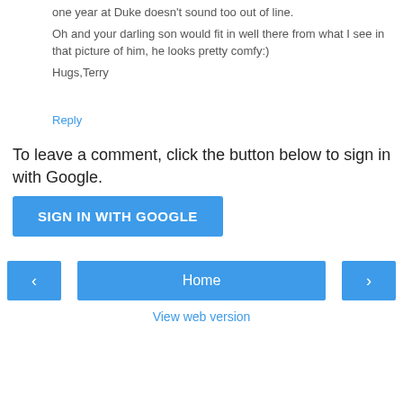one year at Duke doesn't sound too out of line. Oh and your darling son would fit in well there from what I see in that picture of him, he looks pretty comfy:) Hugs,Terry
Reply
To leave a comment, click the button below to sign in with Google.
[Figure (screenshot): Blue button labeled SIGN IN WITH GOOGLE]
[Figure (screenshot): Navigation bar with left arrow, Home button, and right arrow, plus View web version link below]